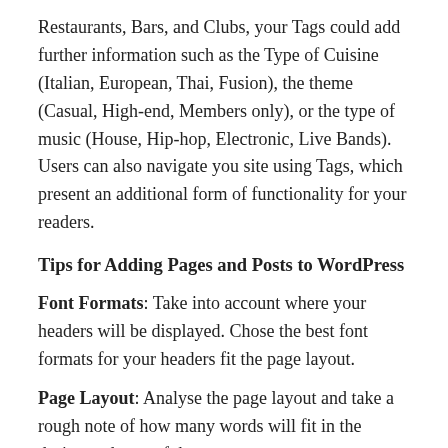Restaurants, Bars, and Clubs, your Tags could add further information such as the Type of Cuisine (Italian, European, Thai, Fusion), the theme (Casual, High-end, Members only), or the type of music (House, Hip-hop, Electronic, Live Bands). Users can also navigate you site using Tags, which present an additional form of functionality for your readers.
Tips for Adding Pages and Posts to WordPress
Font Formats: Take into account where your headers will be displayed. Chose the best font formats for your headers fit the page layout.
Page Layout: Analyse the page layout and take a rough note of how many words will fit in the designated area of the page, create your content based around these specification.
Image Size: Resize and edit photos so they fit across both